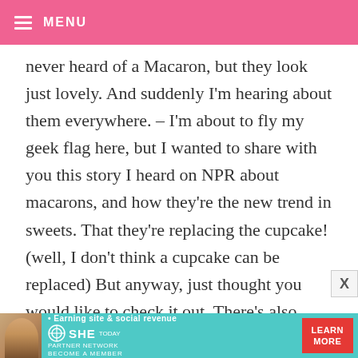MENU
never heard of a Macaron, but they look just lovely. And suddenly I'm hearing about them everywhere. – I'm about to fly my geek flag here, but I wanted to share with you this story I heard on NPR about macarons, and how they're the new trend in sweets. That they're replacing the cupcake! (well, I don't think a cupcake can be replaced) But anyway, just thought you would like to check it out. There's also
[Figure (other): Advertisement banner for SHE Partner Network: 'Earning site & social revenue' with a LEARN MORE button in red]